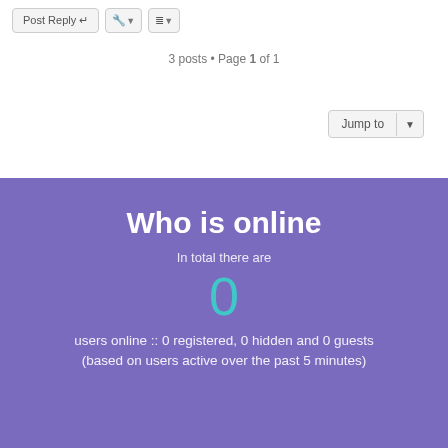Post Reply
3 posts • Page 1 of 1
Jump to
Who is online
In total there are
0
users online :: 0 registered, 0 hidden and 0 guests (based on users active over the past 5 minutes)